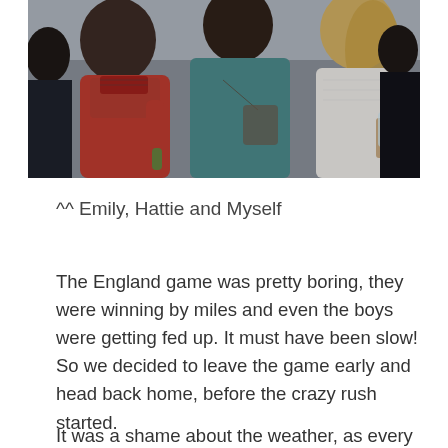[Figure (photo): Three women standing together outdoors. On the left, a woman in a red/coral jacket with a scarf. In the center, a person in a blue/teal top facing away from camera. On the right, a blonde woman in a white knit sweater holding a glass.]
^^ Emily, Hattie and Myself
The England game was pretty boring, they were winning by miles and even the boys were getting fed up. It must have been slow! So we decided to leave the game early and head back home, before the crazy rush started.
It was a shame about the weather, as every